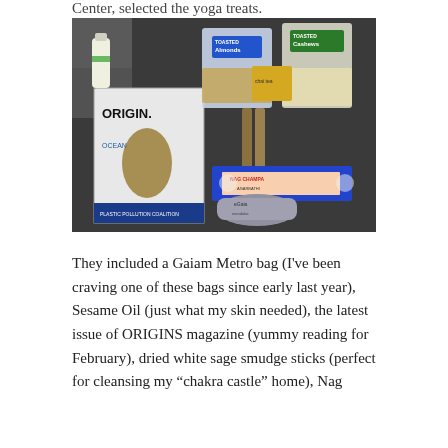Center, selected the yoga treats.
[Figure (photo): A photo taken on a glass table showing various yoga/wellness items: a bottle of Sesame Oil, bags of Almonds and Cashews, incense sticks, a Nag Champa incense box, a rolled Gaiam Metro bag, an issue of ORIGIN magazine with ocean/surfing theme and 'PLASTIC POLLUTION COALITION' text, and a small yellow package.]
They included a Gaiam Metro bag (I've been craving one of these bags since early last year), Sesame Oil (just what my skin needed), the latest issue of ORIGINS magazine (yummy reading for February), dried white sage smudge sticks (perfect for cleansing my “chakra castle” home), Nag